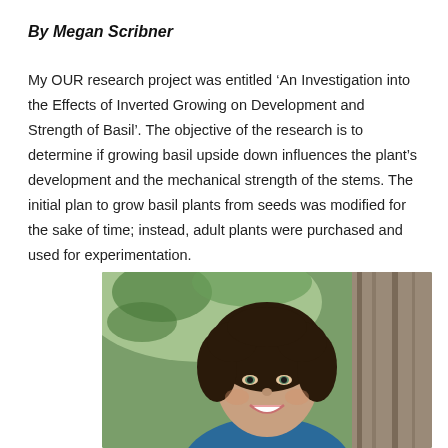By Megan Scribner
My OUR research project was entitled ‘An Investigation into the Effects of Inverted Growing on Development and Strength of Basil’. The objective of the research is to determine if growing basil upside down influences the plant’s development and the mechanical strength of the stems. The initial plan to grow basil plants from seeds was modified for the sake of time; instead, adult plants were purchased and used for experimentation.
[Figure (photo): Portrait photo of Megan Scribner, a young woman with curly dark hair, smiling, outdoors with green trees and bark in background]